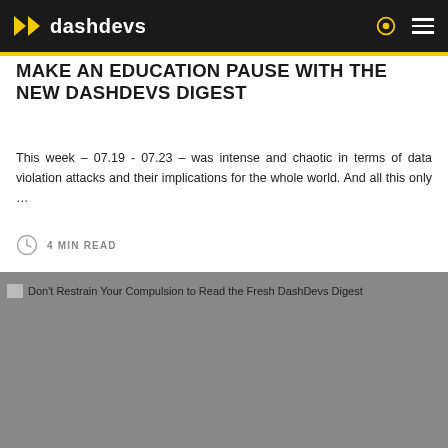dashdevs
MAKE AN EDUCATION PAUSE WITH THE NEW DASHDEVS DIGEST
This week – 07.19 - 07.23 – was intense and chaotic in terms of data violation attacks and their implications for the whole world. And all this only …
4 MIN READ
[Figure (photo): Don't Restrain Your Compulsion to Read the Fresh DashDevs Digest - article thumbnail image (gray placeholder)]